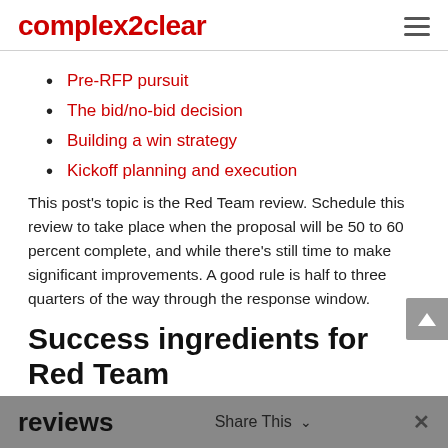complex2clear
Pre-RFP pursuit
The bid/no-bid decision
Building a win strategy
Kickoff planning and execution
This post’s topic is the Red Team review. Schedule this review to take place when the proposal will be 50 to 60 percent complete, and while there’s still time to make significant improvements. A good rule is half to three quarters of the way through the response window.
Success ingredients for Red Team reviews
Share This